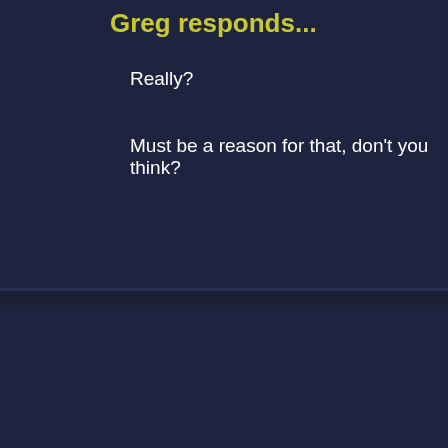Greg responds...
Really?
Must be a reason for that, don't you think?
Question recei
matt writes...
i just watched "City of Stone Pt. 1" and i thought of s... steals one minute of life from all that see and hear it, Xanatos or Owen would believe this! i did the calcula... have to cast the spell on 525 million people to live a t... thats a TON of people. i know a thousand years is a... that she casts this spell on a crowd of an average of... seconds to cast she spent about 10 years of her life o... constantly repeating this incantation!! yes, i know she... i'm just putting it into perspective... another 500 years... certaintly wouldn't have alot of free time. she would'v... people a day, for a thousand years!! i understand tha...